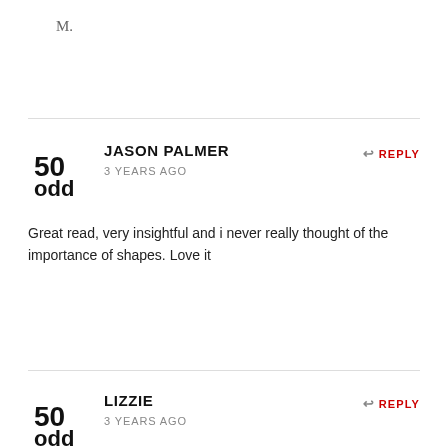M.
JASON PALMER
3 YEARS AGO
REPLY
Great read, very insightful and i never really thought of the importance of shapes. Love it
LIZZIE
3 YEARS AGO
REPLY